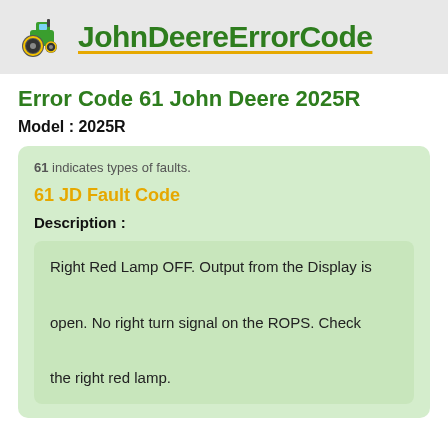JohnDeereErrorCode
Error Code 61 John Deere 2025R
Model : 2025R
61 indicates types of faults.
61 JD Fault Code
Description :
Right Red Lamp OFF. Output from the Display is open. No right turn signal on the ROPS. Check the right red lamp.